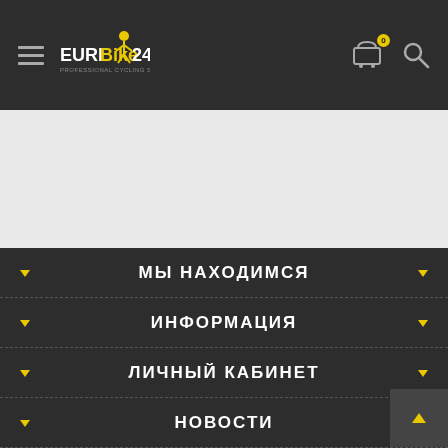EURIBike24 navigation bar with hamburger menu, logo, cart icon (0), and search icon
[Figure (screenshot): Light grey banner/hero image area]
МЫ НАХОДИМСЯ
ИНФОРМАЦИЯ
ЛИЧНЫЙ КАБИНЕТ
НОВОСТИ